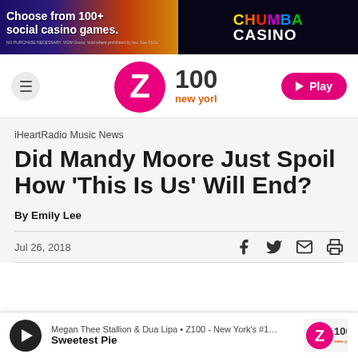[Figure (screenshot): Chumba Casino advertisement banner: 'Choose from 100+ social casino games.' with colorful game imagery and Chumba Casino logo on dark background. Small text: 'NO PURCHASE NECESSARY. VGW Group. Void where prohibited by law. See T&Cs']
[Figure (logo): Z100 New York radio station logo - pink Z with '100 new york' text, hamburger menu icon on left, pink Play button on right]
iHeartRadio Music News
Did Mandy Moore Just Spoil How 'This Is Us' Will End?
By Emily Lee
Jul 26, 2018
[Figure (screenshot): Player bar showing: Megan Thee Stallion & Dua Lipa • Z100 - New York's #1... / Sweetest Pie, with play button and Z100 logo]